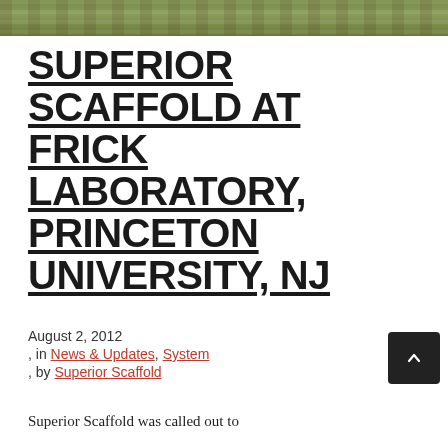[Figure (photo): Partial view of outdoor scene with foliage/greenery, cropped at top of page]
SUPERIOR SCAFFOLD AT FRICK LABORATORY, PRINCETON UNIVERSITY, NJ
August 2, 2012
, in News & Updates, System
, by Superior Scaffold
Superior Scaffold was called out to